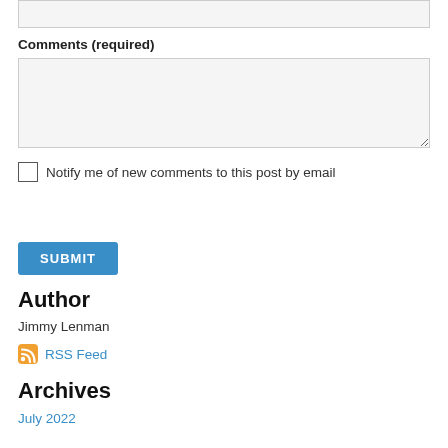[input field - top, cropped]
Comments (required)
[comments textarea]
Notify me of new comments to this post by email
SUBMIT
Author
Jimmy Lenman
RSS Feed
Archives
July 2022